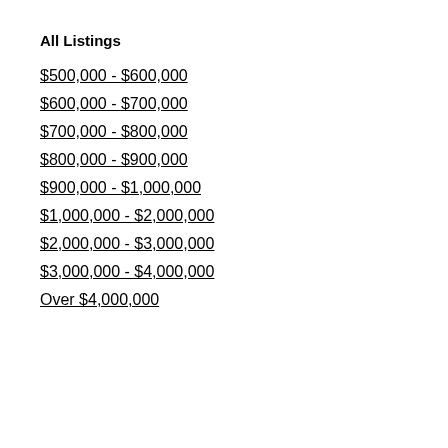All Listings
$500,000 - $600,000
$600,000 - $700,000
$700,000 - $800,000
$800,000 - $900,000
$900,000 - $1,000,000
$1,000,000 - $2,000,000
$2,000,000 - $3,000,000
$3,000,000 - $4,000,000
Over $4,000,000